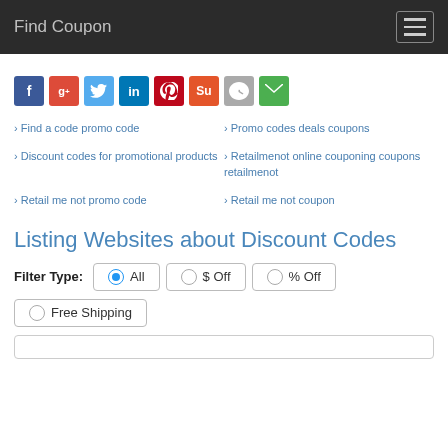Find Coupon
[Figure (infographic): Social sharing icons row: Facebook, Google+, Twitter, LinkedIn, Pinterest, StumbleUpon, Reddit, Email]
Find a code promo code
Promo codes deals coupons
Discount codes for promotional products
Retailmenot online couponing coupons retailmenot
Retail me not promo code
Retail me not coupon
Listing Websites about Discount Codes
Filter Type: All  $ Off  % Off  Free Shipping